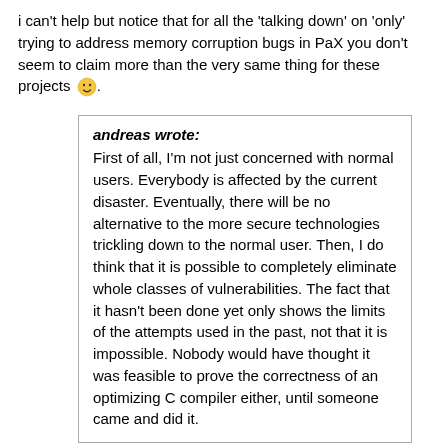i can't help but notice that for all the 'talking down' on 'only' trying to address memory corruption bugs in PaX you don't seem to claim more than the very same thing for these projects 🙂.
andreas wrote:
First of all, I'm not just concerned with normal users. Everybody is affected by the current disaster. Eventually, there will be no alternative to the more secure technologies trickling down to the normal user. Then, I do think that it is possible to completely eliminate whole classes of vulnerabilities. The fact that it hasn't been done yet only shows the limits of the attempts used in the past, not that it is impossible. Nobody would have thought it was feasible to prove the correctness of an optimizing C compiler either, until someone came and did it.
i'm not sure what a correct C compiler helps here (i can count on one hand the exploitable bugs introduced by a compiler) when your future secure system won't even be written in C, but have you seen what their correct C